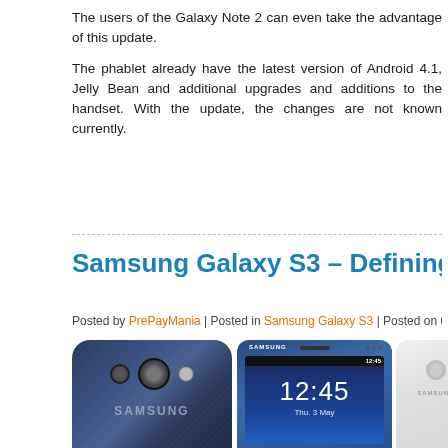The users of the Galaxy Note 2 can even take the advantage of this update.
The phablet already have the latest version of Android 4.1, Jelly Bean and additional upgrades and additions to the handset. With the update, the changes are not known currently.
Samsung Galaxy S3 – Defining Perfect
Posted by PrePayMania | Posted in Samsung Galaxy S3 | Posted on 07-05-2012-05
[Figure (photo): Three Samsung Galaxy S3 phones shown from different angles: back view (blue), front view showing lock screen with time 12:45 Thu 3 May (blue), and side/back view (white).]